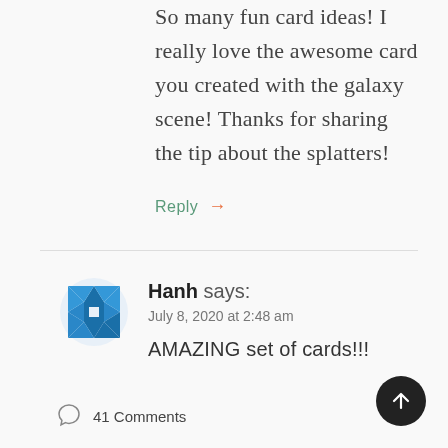So many fun card ideas! I really love the awesome card you created with the galaxy scene! Thanks for sharing the tip about the splatters!
Reply →
[Figure (illustration): Blue geometric/quilt pattern avatar icon for user Hanh]
Hanh says:
July 8, 2020 at 2:48 am
AMAZING set of cards!!!
41 Comments